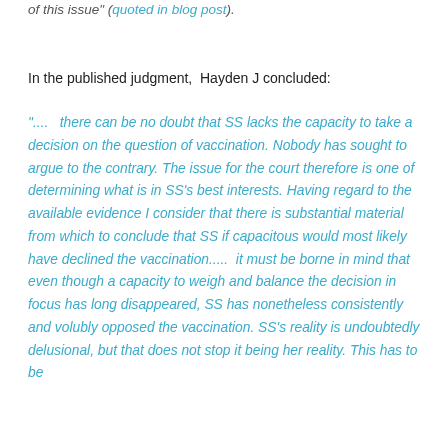of this issue" (quoted in blog post).
In the published judgment, Hayden J concluded:
"....  there can be no doubt that SS lacks the capacity to take a decision on the question of vaccination. Nobody has sought to argue to the contrary. The issue for the court therefore is one of determining what is in SS's best interests. Having regard to the available evidence I consider that there is substantial material from which to conclude that SS if capacitous would most likely have declined the vaccination.....  it must be borne in mind that even though a capacity to weigh and balance the decision in focus has long disappeared, SS has nonetheless consistently and volubly opposed the vaccination. SS's reality is undoubtedly delusional, but that does not stop it being her reality. This has to be